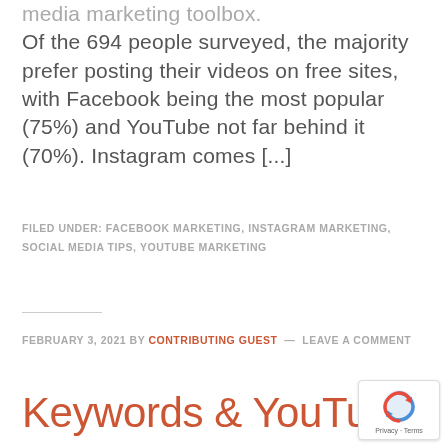media marketing toolbox. Of the 694 people surveyed, the majority prefer posting their videos on free sites, with Facebook being the most popular (75%) and YouTube not far behind it (70%). Instagram comes [...]
FILED UNDER: FACEBOOK MARKETING, INSTAGRAM MARKETING, SOCIAL MEDIA TIPS, YOUTUBE MARKETING
FEBRUARY 3, 2021 BY CONTRIBUTING GUEST — LEAVE A COMMENT
Keywords & YouTube